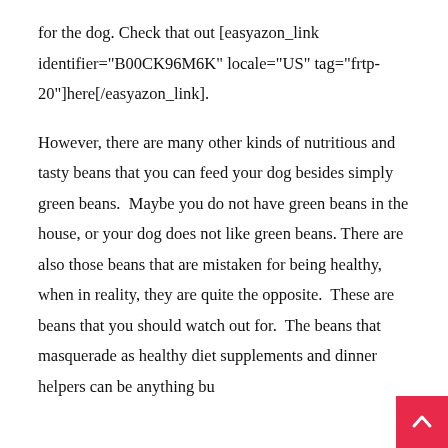for the dog. Check that out [easyazon_link identifier="B00CK96M6K" locale="US" tag="frtp-20"]here[/easyazon_link].
However, there are many other kinds of nutritious and tasty beans that you can feed your dog besides simply green beans. Maybe you do not have green beans in the house, or your dog does not like green beans. There are also those beans that are mistaken for being healthy, when in reality, they are quite the opposite. These are beans that you should watch out for. The beans that masquerade as healthy diet supplements and dinner helpers can be anything bu